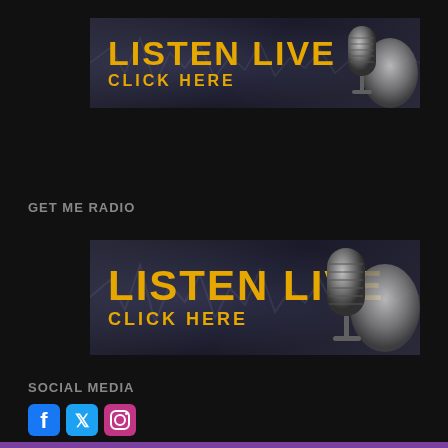[Figure (illustration): Listen Live – Click Here banner with microphone image, dark blue-grey gradient background with soundwave graphic, gold bold text]
GET ME RADIO
[Figure (illustration): Listen Live – Click Here banner with microphone image, dark blue-grey gradient background with soundwave graphic, gold bold text]
SOCIAL MEDIA
[Figure (illustration): Social media icons: Facebook, Twitter, Instagram]